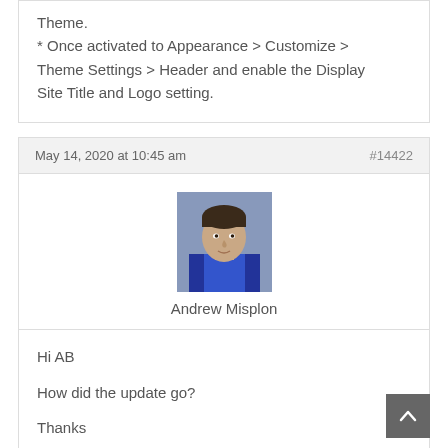Theme.
* Once activated to Appearance > Customize > Theme Settings > Header and enable the Display Site Title and Logo setting.
May 14, 2020 at 10:45 am    #14422
[Figure (photo): Profile photo of Andrew Misplon — a man in a blue shirt]
Andrew Misplon
Hi AB

How did the update go?

Thanks